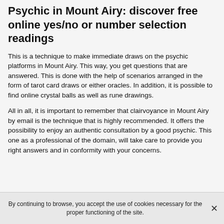Psychic in Mount Airy: discover free online yes/no or number selection readings
This is a technique to make immediate draws on the psychic platforms in Mount Airy. This way, you get questions that are answered. This is done with the help of scenarios arranged in the form of tarot card draws or either oracles. In addition, it is possible to find online crystal balls as well as rune drawings.
All in all, it is important to remember that clairvoyance in Mount Airy by email is the technique that is highly recommended. It offers the possibility to enjoy an authentic consultation by a good psychic. This one as a professional of the domain, will take care to provide you right answers and in conformity with your concerns.
By continuing to browse, you accept the use of cookies necessary for the proper functioning of the site.